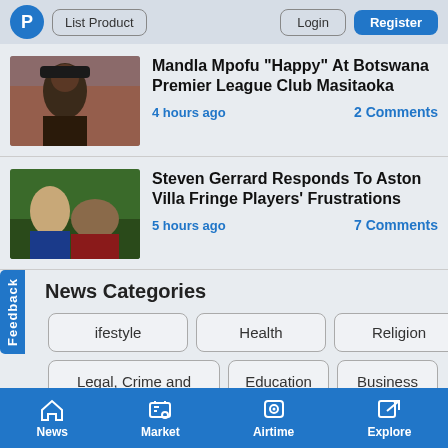P | List Product | Login | Register
Mandla Mpofu "Happy" At Botswana Premier League Club Masitaoka — 4 hours ago — 2 Comments
Steven Gerrard Responds To Aston Villa Fringe Players' Frustrations — 5 hours ago — 7 Comments
News Categories
Lifestyle
Health
Religion
Legal, Crime and Courts
Education
Business
News | Market | Airtime | Explore